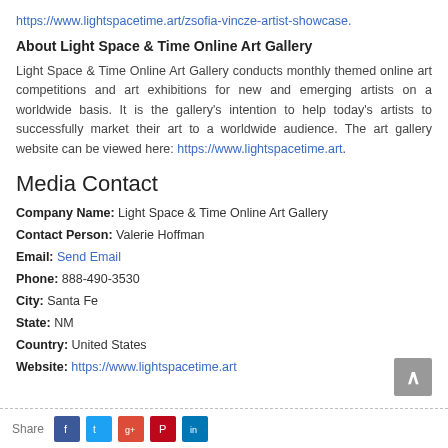https://www.lightspacetime.art/zsofia-vincze-artist-showcase.
About Light Space & Time Online Art Gallery
Light Space & Time Online Art Gallery conducts monthly themed online art competitions and art exhibitions for new and emerging artists on a worldwide basis. It is the gallery's intention to help today's artists to successfully market their art to a worldwide audience. The art gallery website can be viewed here: https://www.lightspacetime.art.
Media Contact
Company Name: Light Space & Time Online Art Gallery
Contact Person: Valerie Hoffman
Email: Send Email
Phone: 888-490-3530
City: Santa Fe
State: NM
Country: United States
Website: https://www.lightspacetime.art
Share